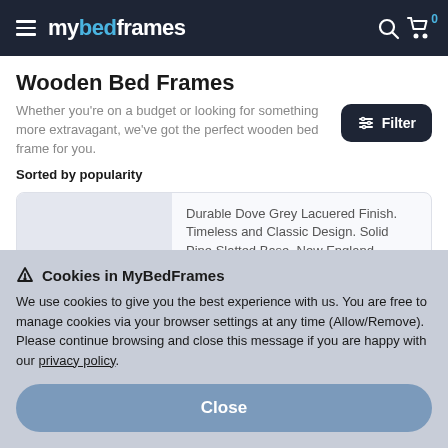mybedframes
Wooden Bed Frames
Whether you're on a budget or looking for something more extravagant, we've got the perfect wooden bed frame for you.
Sorted by popularity
Durable Dove Grey Lacuered Finish. Timeless and Classic Design. Solid Pine Slatted Base. New England style…
£273.24
Free Delivery  Delivery will be 3 to 10 Days
Cookies in MyBedFrames
We use cookies to give you the best experience with us. You are free to manage cookies via your browser settings at any time (Allow/Remove). Please continue browsing and close this message if you are happy with our privacy policy.